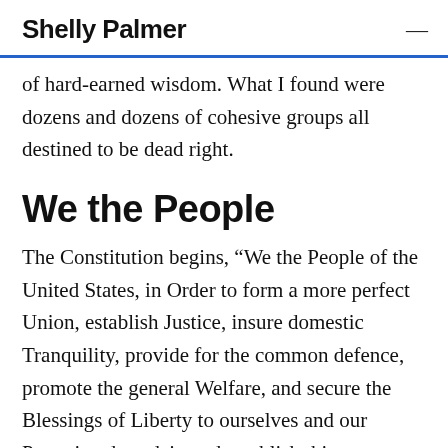Shelly Palmer
of hard-earned wisdom. What I found were dozens and dozens of cohesive groups all destined to be dead right.
We the People
The Constitution begins, “We the People of the United States, in Order to form a more perfect Union, establish Justice, insure domestic Tranquility, provide for the common defence, promote the general Welfare, and secure the Blessings of Liberty to ourselves and our Posterity, do ordain and establish this